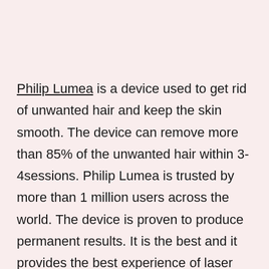Philip Lumea is a device used to get rid of unwanted hair and keep the skin smooth. The device can remove more than 85% of the unwanted hair within 3-4sessions. Philip Lumea is trusted by more than 1 million users across the world. The device is proven to produce permanent results. It is the best and it provides the best experience of laser hair removal.
Pros of using Philips Lumea